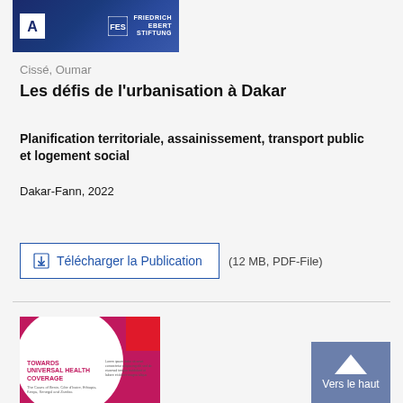[Figure (illustration): Blue dark cover image with logo A on the left and FRIEDRICH EBERT STIFTUNG text on the right, representing a publication cover thumbnail]
Cissé, Oumar
Les défis de l'urbanisation à Dakar
Planification territoriale, assainissement, transport public et logement social
Dakar-Fann, 2022
plus d'informations
Télécharger la Publication  (12 MB, PDF-File)
[Figure (illustration): Publication cover thumbnail: Towards Universal Health Coverage, pink/magenta background with white circle, red corner element, text in dark pink]
Vers le haut